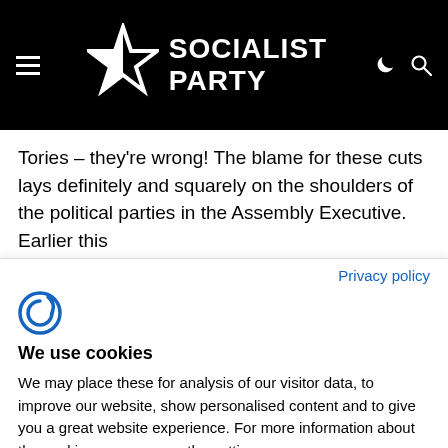Socialist Party
Tories – they're wrong! The blame for these cuts lays definitely and squarely on the shoulders of the political parties in the Assembly Executive. Earlier this
Privacy policy
[Figure (logo): Cookie consent manager logo icon (stylized C with signal arc)]
We use cookies
We may place these for analysis of our visitor data, to improve our website, show personalised content and to give you a great website experience. For more information about the cookies we use open the settings.
Accept all
Deny
No, adjust